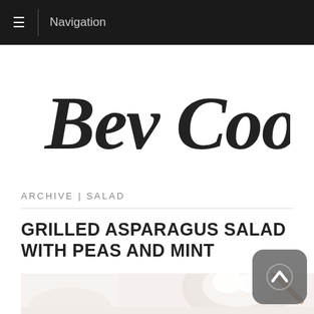Navigation
[Figure (logo): Bev Cooks handwritten script logo in dark ink on white background]
ARCHIVE | SALAD
GRILLED ASPARAGUS SALAD WITH PEAS AND MINT
[Figure (photo): Light colored overhead food photo showing a bowl with white ingredients and a wooden spoon, on a marble surface]